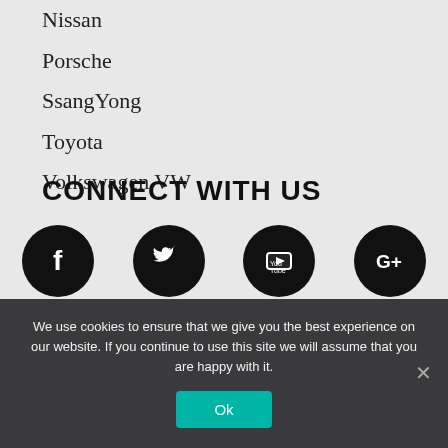Nissan
Porsche
SsangYong
Toyota
Volkswagen VW
CONNECT WITH US
[Figure (infographic): Four social media icons (Facebook, Twitter, YouTube, Google+) as white icons on black circles]
[Figure (logo): Worldpay logo with globe icon in red/orange and text 'worldpay' in grey, below which are payment card logos (Visa, Mastercard, Maestro, and another card)]
We use cookies to ensure that we give you the best experience on our website. If you continue to use this site we will assume that you are happy with it.